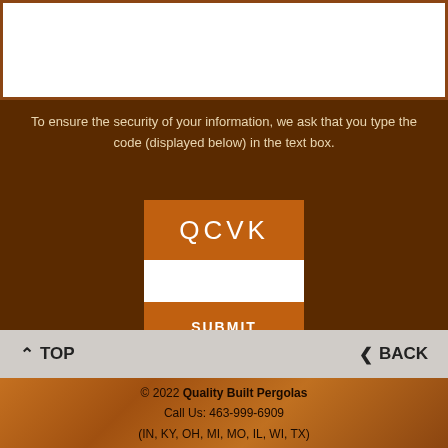[Figure (screenshot): White form input box with brown border at the top of the page]
To ensure the security of your information, we ask that you type the code (displayed below) in the text box.
[Figure (screenshot): CAPTCHA widget with code display showing 'QCVK', a white text input box, and a brown SUBMIT button]
^ TOP    < BACK
© 2022 Quality Built Pergolas
Call Us: 463-999-6909
(IN, KY, OH, MI, MO, IL, WI, TX)
Florida - Call Us: 463-999-6909